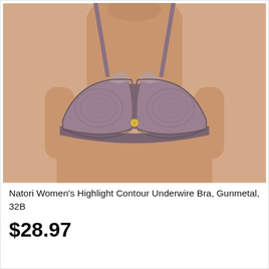[Figure (photo): A woman wearing a mauve/gunmetal colored Natori underwire bra, shown from neck to waist. The bra has molded contour cups with a textured pattern, thin adjustable straps, and a small gold center hardware piece between the cups.]
Natori Women's Highlight Contour Underwire Bra, Gunmetal, 32B
$28.97